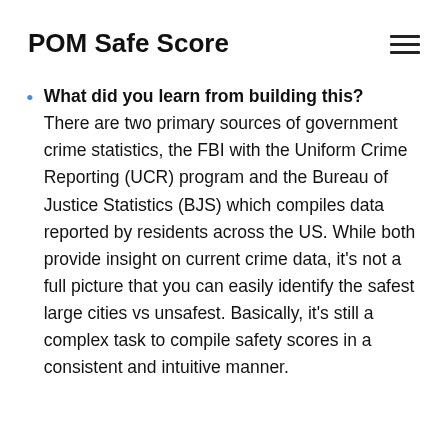POM Safe Score
What did you learn from building this? There are two primary sources of government crime statistics, the FBI with the Uniform Crime Reporting (UCR) program and the Bureau of Justice Statistics (BJS) which compiles data reported by residents across the US. While both provide insight on current crime data, it's not a full picture that you can easily identify the safest large cities vs unsafest. Basically, it's still a complex task to compile safety scores in a consistent and intuitive manner.